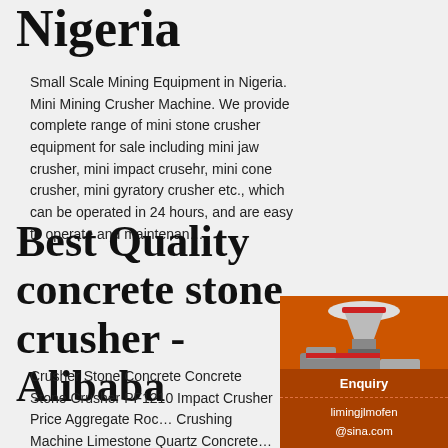Nigeria
Small Scale Mining Equipment in Nigeria. Mini Mining Crusher Machine. We provide complete range of mini stone crusher equipment for sale including mini jaw crusher, mini impact crusehr, mini cone crusher, mini gyratory crusher etc., which can be operated in 24 hours, and are easy to operate and maintenance.
Best Quality concrete stone crusher - Alibaba
[Figure (illustration): Orange advertisement panel showing industrial crushing/mining machines with text 'Enjoy 3% discount', 'Click to Chat', 'Enquiry', and email 'limingjlmofen@sina.com']
Crusher Stone Concrete Concrete Stone Crusher PF1210 Impact Crusher Price Aggregate Rock Crushing Machine Limestone Quartz Concrete Stone Crusher. $15,000.00/ Set. 1 Set (Min. Order) Henan Shibo Mechanical Engineering Co., Ltd. YRS.